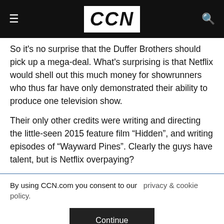CCN
So it's no surprise that the Duffer Brothers should pick up a mega-deal. What's surprising is that Netflix would shell out this much money for showrunners who thus far have only demonstrated their ability to produce one television show.
Their only other credits were writing and directing the little-seen 2015 feature film “Hidden”, and writing episodes of “Wayward Pines”. Clearly the guys have talent, but is Netflix overpaying?
By using CCN.com you consent to our  privacy & cookie policy.
Continue